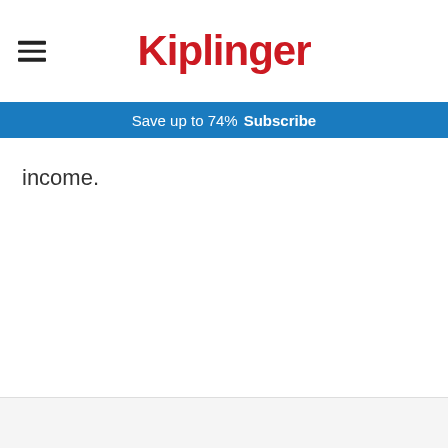Kiplinger
Save up to 74%  Subscribe
income.